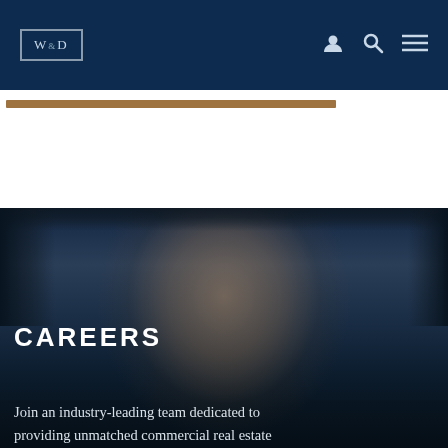W&D
[Figure (photo): Close-up portrait of a woman with dark hair against a dark navy blue background, showing face from forehead to mid-face level. Used as background hero image for Careers section.]
CAREERS
Join an industry-leading team dedicated to providing unmatched commercial real estate